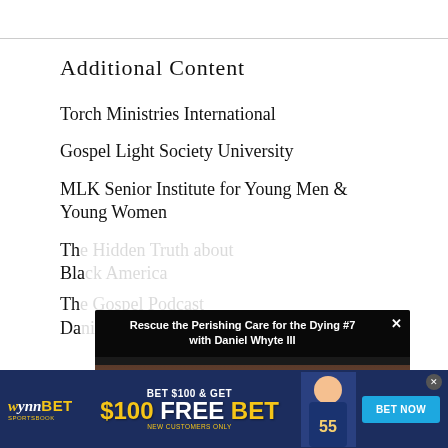Additional Content
Torch Ministries International
Gospel Light Society University
MLK Senior Institute for Young Men & Young Women
Th... Bla...
Th... Da...
[Figure (screenshot): Video overlay showing 'Rescue the Perishing Care for the Dying #7 with Daniel Whyte III' with a person visible below the title bar]
[Figure (screenshot): WynnBET Sportsbook advertisement: BET $100 & GET $100 FREE BET, NEW CUSTOMERS ONLY, with BET NOW button]